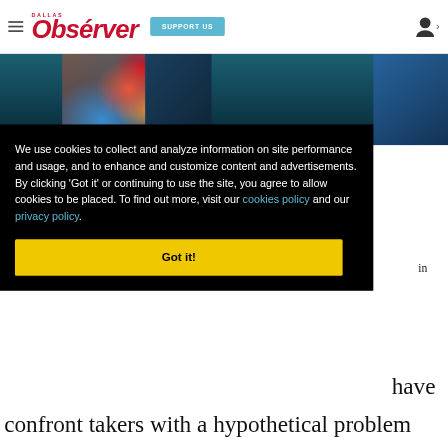Dallas Observer — SUPPORT US
[Figure (photo): Colorful tattooed person in vibrant patterned clothing, partially visible, dark background]
We use cookies to collect and analyze information on site performance and usage, and to enhance and customize content and advertisements. By clicking 'Got it' or continuing to use the site, you agree to allow cookies to be placed. To find out more, visit our cookies policy and our privacy policy.
Got it!
in
have
confront takers with a hypothetical problem